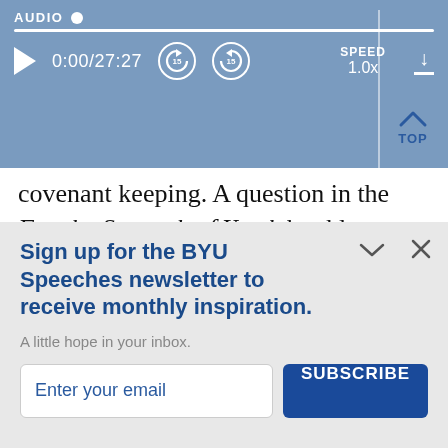[Figure (screenshot): Audio player interface with steel-blue background showing AUDIO label, progress bar, play button, time display 0:00/27:27, rewind and forward 15-second buttons, SPEED 1.0x, and download button]
p covenant keeping. A question in the For the Strength of Youth booklet really is the question each of us must consider: “Am I living the way the Lord wants me to live?” ([Salt Lake Cit The Church of Jesus Christ of Latter-day
Sign up for the BYU Speeches newsletter to receive monthly inspiration.
A little hope in your inbox.
Enter your email
SUBSCRIBE